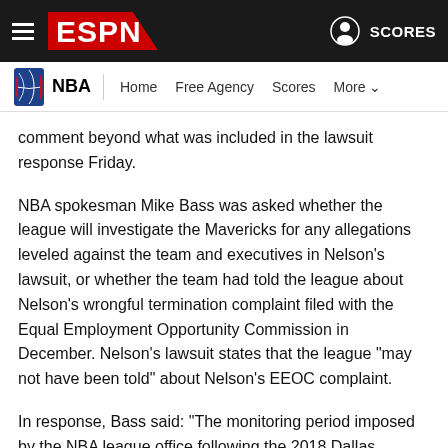ESPN — NBA navigation bar with hamburger menu, ESPN logo, user icon, and SCORES
NBA | Home  Free Agency  Scores  More
comment beyond what was included in the lawsuit response Friday.
NBA spokesman Mike Bass was asked whether the league will investigate the Mavericks for any allegations leveled against the team and executives in Nelson's lawsuit, or whether the team had told the league about Nelson's wrongful termination complaint filed with the Equal Employment Opportunity Commission in December. Nelson's lawsuit states that the league "may not have been told" about Nelson's EEOC complaint.
In response, Bass said: "The monitoring period imposed by the NBA league office following the 2018 Dallas Mavericks workplace investigation was in place for more than three years,